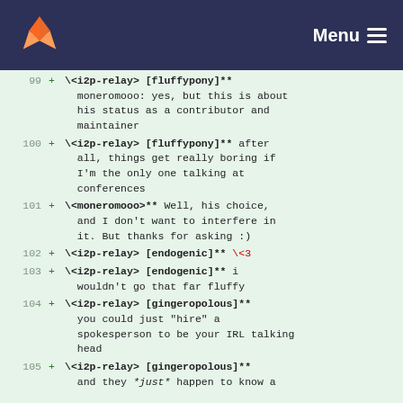Menu
99 + **\<i2p-relay> [fluffypony]** moneromooo: yes, but this is about his status as a contributor and maintainer
100 + **\<i2p-relay> [fluffypony]** after all, things get really boring if I'm the only one talking at conferences
101 + **\<moneromooo>** Well, his choice, and I don't want to interfere in it. But thanks for asking :)
102 + **\<i2p-relay> [endogenic]** \<3
103 + **\<i2p-relay> [endogenic]** i wouldn't go that far fluffy
104 + **\<i2p-relay> [gingeropolous]** you could just "hire" a spokesperson to be your IRL talking head
105 + **\<i2p-relay> [gingeropolous]** and they *just* happen to know a